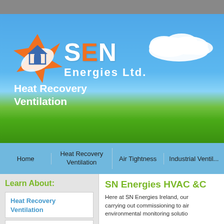[Figure (screenshot): SN Energies Ltd. website screenshot showing hero banner with sky and grass background, company logo, Heat Recovery Ventilation tagline, navigation bar, sidebar with Learn About section, and main content area.]
S&N Energies Ltd.
Heat Recovery Ventilation
Home | Heat Recovery Ventilation | Air Tightness | Industrial Ventilation
Learn About:
Heat Recovery Ventilation
Industrial Ventilation
SN Energies HVAC
Here at SN Energies Ireland, our carrying out commissioning to air environmental monitoring solutio